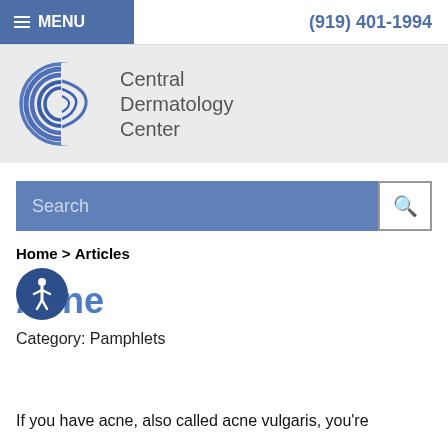MENU   (919) 401-1994
[Figure (logo): Central Dermatology Center logo — a blue circular swirl/C shape alongside text reading 'Central Dermatology Center']
Search
Home > Articles
Acne
Category: Pamphlets
If you have acne, also called acne vulgaris, you're